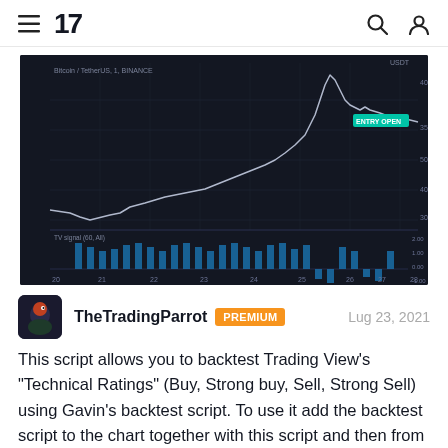TradingView logo and navigation
[Figure (continuous-plot): TradingView chart of Bitcoin/TetherUS on BINANCE (1-day timeframe) showing a price line chart rising from ~3000 to a peak near 4000, with a volume/signal indicator panel below showing bar histogram oscillating between approximately -1.00 and 2.00. Time axis spans from approximately August 20 to 28.]
TheTradingParrot  PREMIUM   Lug 23, 2021
This script allows you to backtest Trading View's "Technical Ratings" (Buy, Strong buy, Sell, Strong Sell) using Gavin's backtest script. To use it add the backtest script to the chart together with this script and then from the back test setting